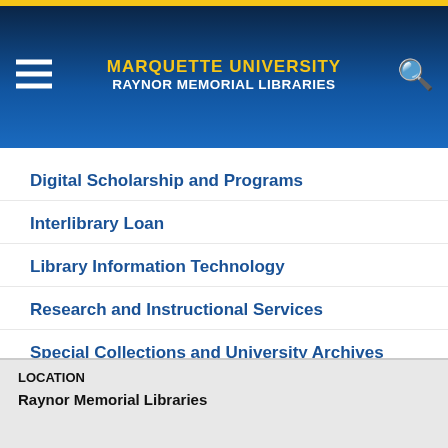MARQUETTE UNIVERSITY RAYNOR MEMORIAL LIBRARIES
Digital Scholarship and Programs
Interlibrary Loan
Library Information Technology
Research and Instructional Services
Special Collections and University Archives
Resource Management
Technical Services
LOCATION
Raynor Memorial Libraries